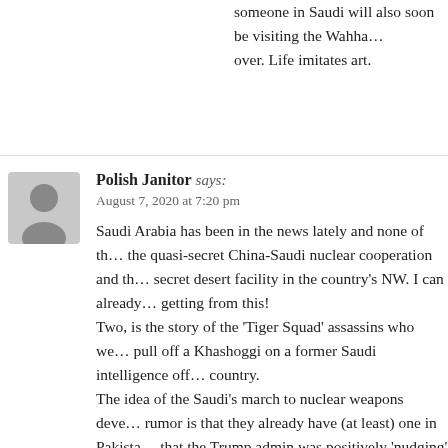someone in Saudi will also soon be visiting the Wahha… over. Life imitates art.
Polish Janitor says:
August 7, 2020 at 7:20 pm
Saudi Arabia has been in the news lately and none of the quasi-secret China-Saudi nuclear cooperation and the secret desert facility in the country's NW. I can already getting from this!
Two, is the story of the 'Tiger Squad' assassins who we pull off a Khashoggi on a former Saudi intelligence off country.
The idea of the Saudi's march to nuclear weapons deve rumor is that they already have (at least) one in Pakista that the Trump admin was positively 'nudging' the Sau development until very recently, when Rick Perry was days ago the official at the State Dep's arms control an